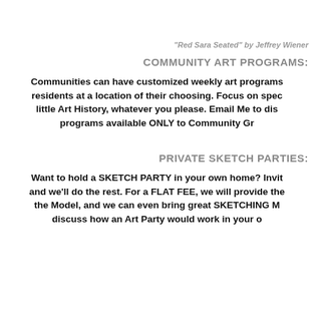“Red Sara Seated” by Jeffrey Wiener
COMMUNITY ART PROGRAMS:
Communities can have customized weekly art programs for residents at a location of their choosing. Focus on spec little Art History, whatever you please. Email Me to dis programs available ONLY to Community Gr
PRIVATE SKETCH PARTIES:
Want to hold a SKETCH PARTY in your own home? Invit and we’ll do the rest. For a FLAT FEE, we will provide the the Model, and we can even bring great SKETCHING M discuss how an Art Party would work in your o